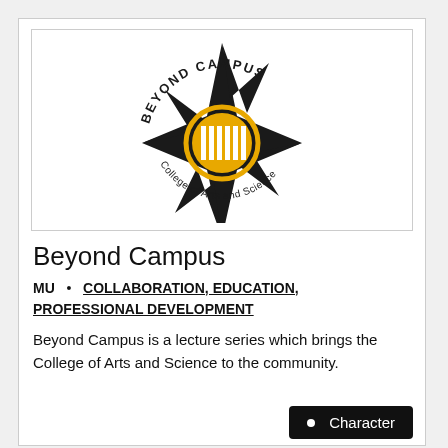[Figure (logo): Beyond Campus logo — a compass star with a golden sun center, text 'BEYOND CAMPUS' arced on top and 'College of Arts and Science' arced on bottom, black and gold colors]
Beyond Campus
MU  •  COLLABORATION, EDUCATION, PROFESSIONAL DEVELOPMENT
Beyond Campus is a lecture series which brings the College of Arts and Science to the community.
• Character